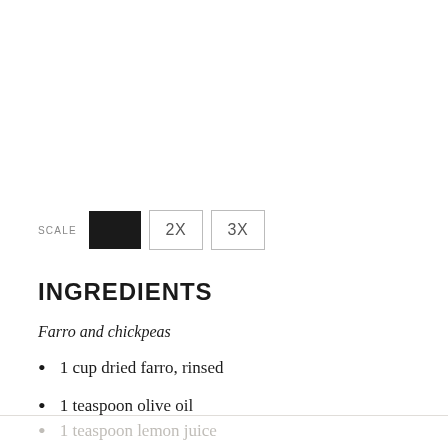SCALE  1X  2X  3X
INGREDIENTS
Farro and chickpeas
1 cup dried farro, rinsed
1 teaspoon olive oil
1 teaspoon lemon juice